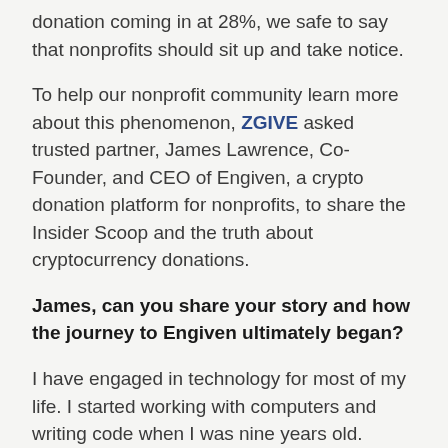donation coming in at 28%, we safe to say that nonprofits should sit up and take notice.
To help our nonprofit community learn more about this phenomenon, ZGIVE asked trusted partner, James Lawrence, Co-Founder, and CEO of Engiven, a crypto donation platform for nonprofits, to share the Insider Scoop and the truth about cryptocurrency donations.
James, can you share your story and how the journey to Engiven ultimately began?
I have engaged in technology for most of my life. I started working with computers and writing code when I was nine years old.
Someone had donated a very early version of the...